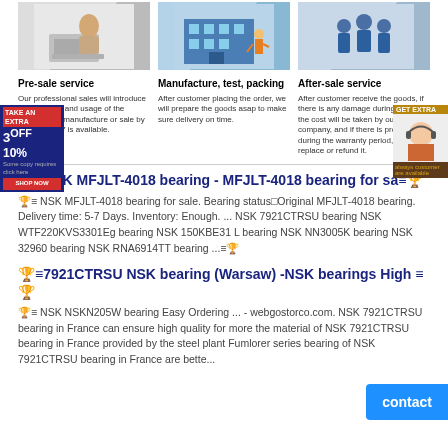[Figure (photo): Person typing at computer - pre-sale service image]
[Figure (illustration): Warehouse with worker - manufacture, test, packing image]
[Figure (illustration): Group of workers in blue - after-sale service image]
Pre-sale service
Manufacture, test, packing
After-sale service
Our professional sales will introduce the structure and usage of the products we manufacture or sale by in detail. 24/7 is available.
After customer placing the order, we will prepare the goods asap to make sure delivery on time.
After customer receive the goods, if there is any damage during delivery the cost will be taken by our company, and if there is problem during the warranty period, we will replace or refund it.
🏆≡NSK MFJLT-4018 bearing - MFJLT-4018 bearing for sa≡🏆
🏆≡ NSK MFJLT-4018 bearing for sale. Bearing status□Original MFJLT-4018 bearing. Delivery time: 5-7 Days. Inventory: Enough. ... NSK 7921CTRSU bearing NSK WTF220KVS3301Eg bearing NSK 150KBE31 L bearing NSK NN3005K bearing NSK 32960 bearing NSK RNA6914TT bearing ...≡🏆
🏆≡7921CTRSU NSK bearing (Warsaw) -NSK bearings High ≡🏆
🏆≡ NSK NSKN205W bearing Easy Ordering ... - webgostorco.com. NSK 7921CTRSU bearing in France can ensure high quality for more the material of NSK 7921CTRSU bearing in France provided by the steel plant Fumlorer series bearing of NSK 7921CTRSU bearing in France are bette...